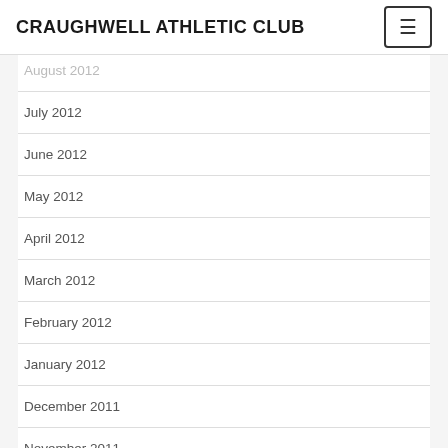CRAUGHWELL ATHLETIC CLUB
August 2012
July 2012
June 2012
May 2012
April 2012
March 2012
February 2012
January 2012
December 2011
November 2011
October 2011